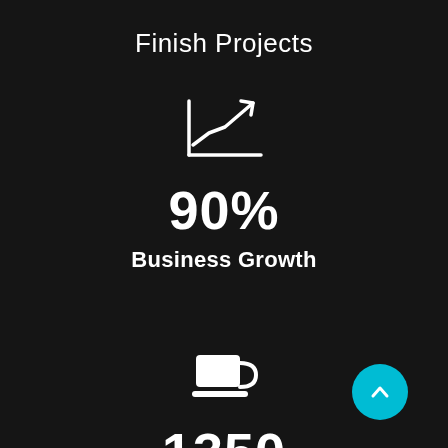Finish Projects
[Figure (illustration): White line chart icon with upward trending arrow on dark background]
90%
Business Growth
[Figure (illustration): White coffee cup icon on dark background]
1350
Cups of Coffee